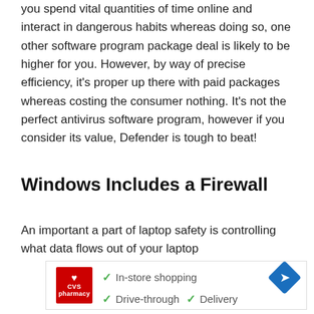you spend vital quantities of time online and interact in dangerous habits whereas doing so, one other software program package deal is likely to be higher for you. However, by way of precise efficiency, it's proper up there with paid packages whereas costing the consumer nothing. It's not the perfect antivirus software program, however if you consider its value, Defender is tough to beat!
Windows Includes a Firewall
An important a part of laptop safety is controlling what data flows out of your laptop
[Figure (other): CVS Pharmacy advertisement banner showing checkmarks for In-store shopping, Drive-through, and Delivery services with a navigation/directions icon]